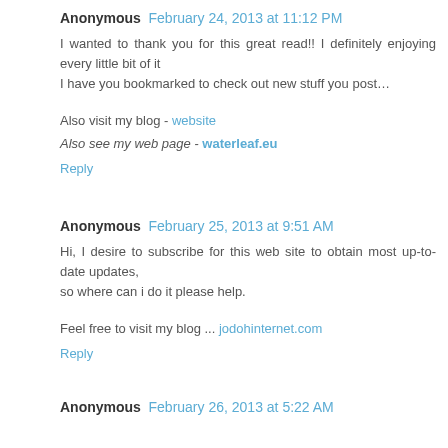Anonymous February 24, 2013 at 11:12 PM
I wanted to thank you for this great read!! I definitely enjoying every little bit of it
I have you bookmarked to check out new stuff you post…
Also visit my blog - website
Also see my web page - waterleaf.eu
Reply
Anonymous February 25, 2013 at 9:51 AM
Hi, I desire to subscribe for this web site to obtain most up-to-date updates,
so where can i do it please help.
Feel free to visit my blog ... jodohinternet.com
Reply
Anonymous February 26, 2013 at 5:22 AM